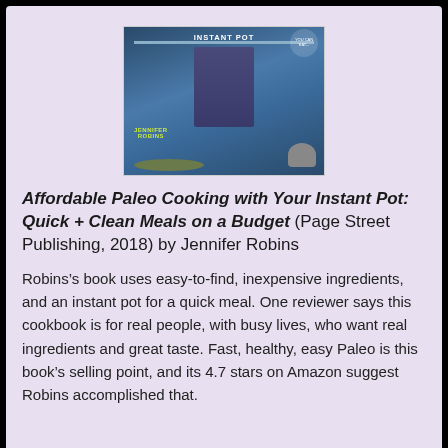[Figure (photo): Book cover of 'Affordable Paleo Cooking with Your Instant Pot' by Jennifer Robins, showing the author standing with an Instant Pot and food on a counter]
Affordable Paleo Cooking with Your Instant Pot: Quick + Clean Meals on a Budget (Page Street Publishing, 2018) by Jennifer Robins
Robins’s book uses easy-to-find, inexpensive ingredients, and an instant pot for a quick meal. One reviewer says this cookbook is for real people, with busy lives, who want real ingredients and great taste. Fast, healthy, easy Paleo is this book’s selling point, and its 4.7 stars on Amazon suggest Robins accomplished that.